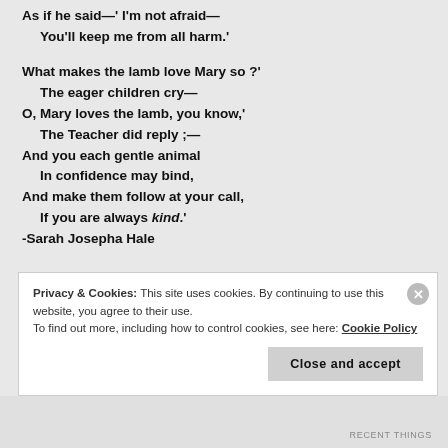As if he said—' I'm not afraid—
  You'll keep me from all harm.'

What makes the lamb love Mary so ?'
  The eager children cry—
O, Mary loves the lamb, you know,'
  The Teacher did reply ;—
And you each gentle animal
  In confidence may bind,
And make them follow at your call,
  If you are always kind.'
-Sarah Josepha Hale
Privacy & Cookies: This site uses cookies. By continuing to use this website, you agree to their use. To find out more, including how to control cookies, see here: Cookie Policy